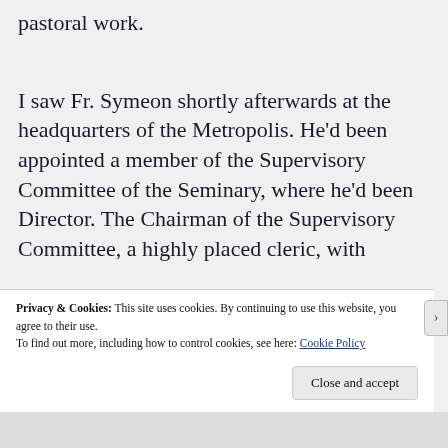pastoral work.
I saw Fr. Symeon shortly afterwards at the headquarters of the Metropolis. He’d been appointed a member of the Supervisory Committee of the Seminary, where he’d been Director. The Chairman of the Supervisory Committee, a highly placed cleric, with
Privacy & Cookies: This site uses cookies. By continuing to use this website, you agree to their use.
To find out more, including how to control cookies, see here: Cookie Policy
Close and accept